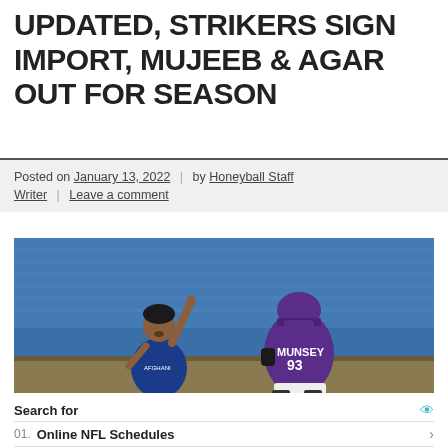UPDATED, STRIKERS SIGN IMPORT, MUJEEB & AGAR OUT FOR SEASON
Posted on January 13, 2022 | by Honeyball Staff Writer | Leave a comment
[Figure (photo): Two cricket players on field, one in blue Afghanistan kit pointing finger up celebrating, another in purple Scotland kit with number 93 and name MUNSEY on back]
Search for
01. Online NFL Schedules
02. Dallas Cowboys Jerseys
Yahoo! Search | Sponsored